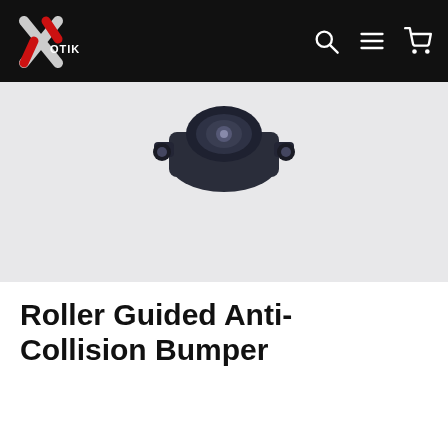Xotik — navigation header with logo, search, menu, and cart icons
[Figure (photo): Close-up photo of a dark navy/black roller guided anti-collision bumper hardware component, shown against a light grey-white background. Only the top portion of the component is visible.]
Roller Guided Anti-Collision Bumper